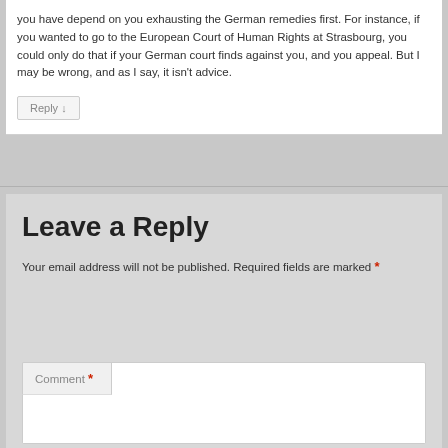you have depend on you exhausting the German remedies first. For instance, if you wanted to go to the European Court of Human Rights at Strasbourg, you could only do that if your German court finds against you, and you appeal. But I may be wrong, and as I say, it isn't advice.
Reply ↓
Leave a Reply
Your email address will not be published. Required fields are marked *
Comment *